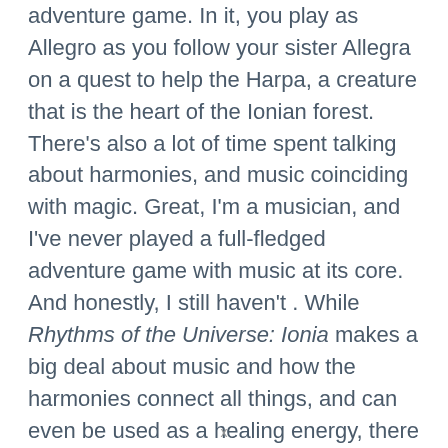adventure game. In it, you play as Allegro as you follow your sister Allegra on a quest to help the Harpa, a creature that is the heart of the Ionian forest. There's also a lot of time spent talking about harmonies, and music coinciding with magic. Great, I'm a musician, and I've never played a full-fledged adventure game with music at its core. And honestly, I still haven't . While Rhythms of the Universe: Ionia makes a big deal about music and how the harmonies connect all things, and can even be used as a healing energy, there isn't really that much music in the game. In fact, there really isn't much to the game at all: it's easily one of the shortest virtual reality games I've ever played. Just as I thought the game was getting started. and a character sounded like they were
x